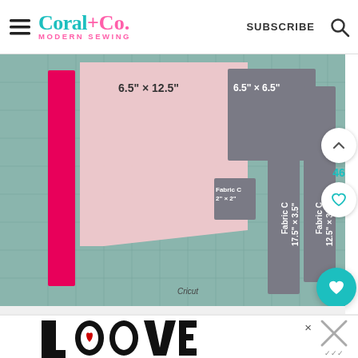Coral+Co. MODERN SEWING | SUBSCRIBE
[Figure (photo): Fabric cutting mat (Cricut brand) with various pieces of fabric labeled with dimensions: 6.5" x 12.5" (pink), 6.5" x 6.5" (grey square), Fabric C 2" x 2" (small grey), Fabric C 17.5" x 3.5" (long grey strip), Fabric C 12.5" x 3.5" (grey strip), and a bright pink/magenta fabric strip on the left.]
[Figure (illustration): Decorative LOVE text art in black and white with intricate patterns, with a red heart detail. Partially visible in bottom ad banner. Also shows an X close button and a partially visible advertisement on the right.]